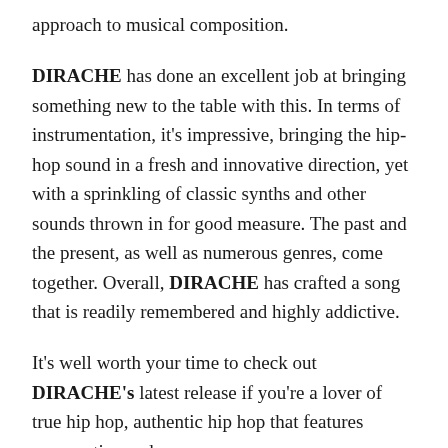approach to musical composition.
DIRACHE has done an excellent job at bringing something new to the table with this. In terms of instrumentation, it's impressive, bringing the hip-hop sound in a fresh and innovative direction, yet with a sprinkling of classic synths and other sounds thrown in for good measure. The past and the present, as well as numerous genres, come together. Overall, DIRACHE has crafted a song that is readily remembered and highly addictive.
It's well worth your time to check out DIRACHE's latest release if you're a lover of true hip hop, authentic hip hop that features provocative and